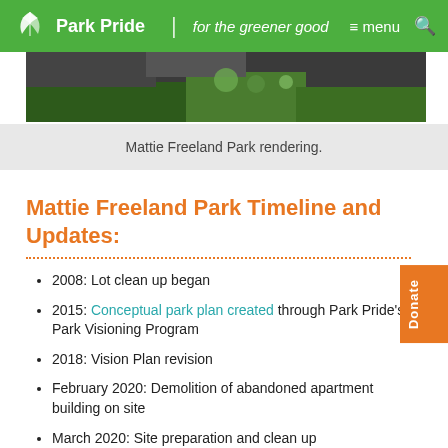Park Pride | for the greener good   ≡ menu 🔍
[Figure (photo): Aerial rendering of Mattie Freeland Park showing green landscaping and park design]
Mattie Freeland Park rendering.
Mattie Freeland Park Timeline and Updates:
2008: Lot clean up began
2015: Conceptual park plan created through Park Pride's Park Visioning Program
2018: Vision Plan revision
February 2020: Demolition of abandoned apartment building on site
March 2020: Site preparation and clean up
October 2020: Phase I groundbreaking celebration